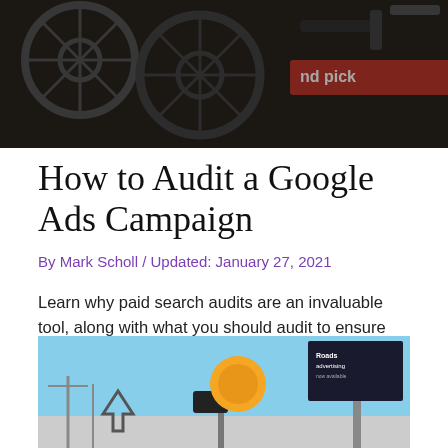[Figure (photo): Dark close-up photo of bicycle wheels and handlebars with a red banner reading 'and pick' visible]
How to Audit a Google Ads Campaign
By Mark Scholl / Updated: January 27, 2021
Learn why paid search audits are an invaluable tool, along with what you should audit to ensure your campaigns are running at the highest level.
[Figure (photo): Outdoor street scene with billboard, yellow traffic signal, and camera equipment against a blue sky]